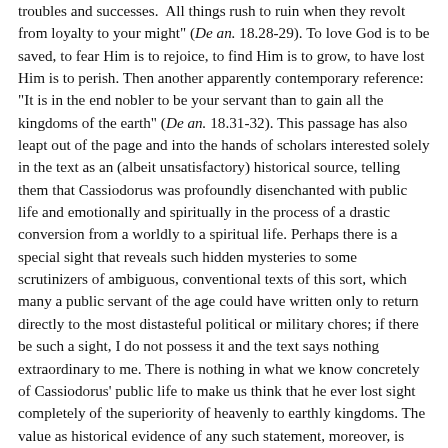troubles and successes. All things rush to ruin when they revolt from loyalty to your might" (De an. 18.28-29). To love God is to be saved, to fear Him is to rejoice, to find Him is to grow, to have lost Him is to perish. Then another apparently contemporary reference: "It is in the end nobler to be your servant than to gain all the kingdoms of the earth" (De an. 18.31-32). This passage has also leapt out of the page and into the hands of scholars interested solely in the text as an (albeit unsatisfactory) historical source, telling them that Cassiodorus was profoundly disenchanted with public life and emotionally and spiritually in the process of a drastic conversion from a worldly to a spiritual life. Perhaps there is a special sight that reveals such hidden mysteries to some scrutinizers of ambiguous, conventional texts of this sort, which many a public servant of the age could have written only to return directly to the most distasteful political or military chores; if there be such a sight, I do not possess it and the text says nothing extraordinary to me. There is nothing in what we know concretely of Cassiodorus' public life to make us think that he ever lost sight completely of the superiority of heavenly to earthly kingdoms. The value as historical evidence of any such statement, moreover, is sharply reduced by its presence in a profoundly confessional rhetorical text such as this.[[28]] There is no reason to suspect that merely because it echoes the conventional, it is false; but neither are there grounds for seeing in it dramatic personal revelation. The whole tone of the work, with its extremely reserved self-